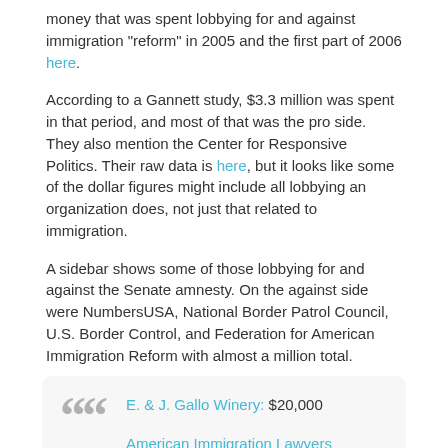money that was spent lobbying for and against immigration "reform" in 2005 and the first part of 2006 here.
According to a Gannett study, $3.3 million was spent in that period, and most of that was the pro side. They also mention the Center for Responsive Politics. Their raw data is here, but it looks like some of the dollar figures might include all lobbying an organization does, not just that related to immigration.
A sidebar shows some of those lobbying for and against the Senate amnesty. On the against side were NumbersUSA, National Border Patrol Council, U.S. Border Control, and Federation for American Immigration Reform with almost a million total.
On the for side were:
E. & J. Gallo Winery: $20,000
American Immigration Lawyers Association:
$85,000